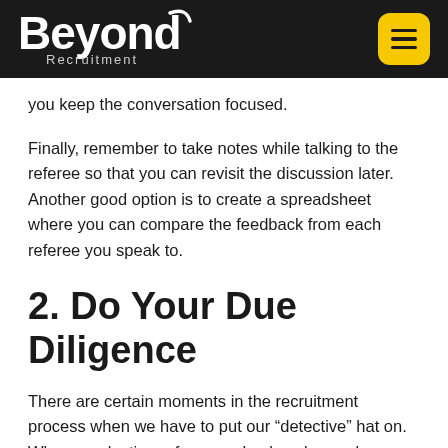Beyond Recruitment
you keep the conversation focused.
Finally, remember to take notes while talking to the referee so that you can revisit the discussion later. Another good option is to create a spreadsheet where you can compare the feedback from each referee you speak to.
2. Do Your Due Diligence
There are certain moments in the recruitment process when we have to put our “detective” hat on. When conducting reference checks, always do your due diligence and cross-check details to confirm that the information provided is true and that the referees are indeed who the candidate says they are. Keep an eye out for any red flags such as inaccurate